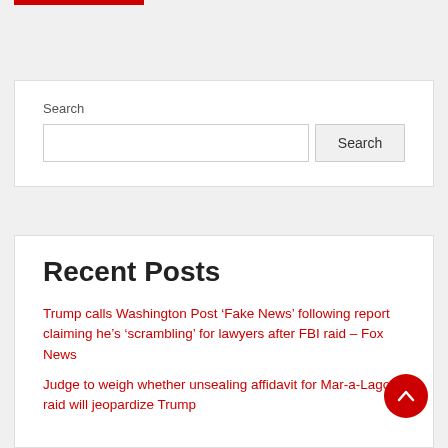Search
Recent Posts
Trump calls Washington Post ‘Fake News’ following report claiming he’s ‘scrambling’ for lawyers after FBI raid – Fox News
Judge to weigh whether unsealing affidavit for Mar-a-Lago raid will jeopardize Trump